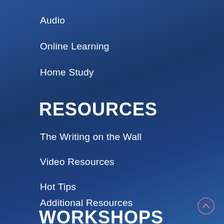Audio
Online Learning
Home Study
RESOURCES
The Writing on the Wall
Video Resources
Hot Tips
Additional Resources
WORKSHOPS